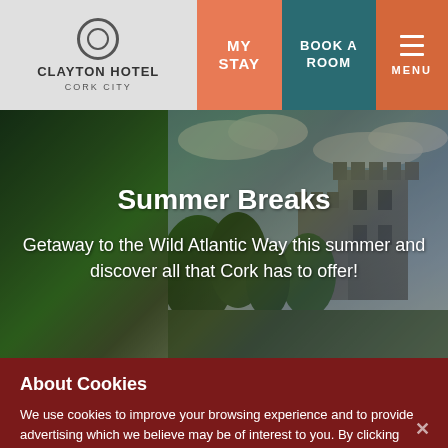Clayton Hotel Cork City — MY STAY | BOOK A ROOM | MENU
[Figure (photo): Hero image of Blarney Castle with lush green trees and cloudy sky, with a couple in the foreground. Text overlay reads 'Summer Breaks' and 'Getaway to the Wild Atlantic Way this summer and discover all that Cork has to offer!']
Summer Breaks
Getaway to the Wild Atlantic Way this summer and discover all that Cork has to offer!
About Cookies
We use cookies to improve your browsing experience and to provide advertising which we believe may be of interest to you. By clicking "Accept All Cookies", you agree to the storing of cookies on your device to enhance site navigation, analyse site usage, and assist in our marketing efforts.  Cookie Policy